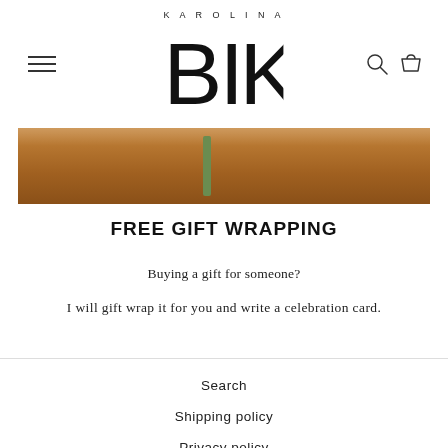Karolina BIK — navigation header with logo, hamburger menu, search and cart icons
[Figure (photo): Close-up photo of a wooden surface with a green ribbon or stem, partial gift wrapping scene]
FREE GIFT WRAPPING
Buying a gift for someone?
I will gift wrap it for you and write a celebration card.
Search
Shipping policy
Privacy policy